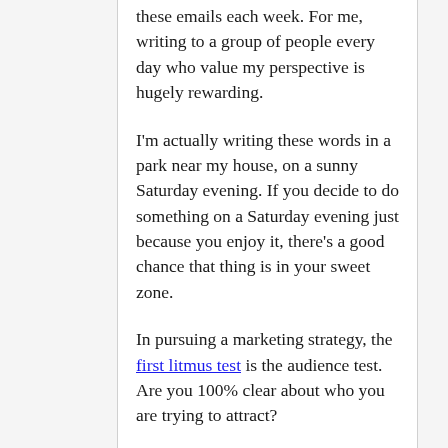these emails each week. For me, writing to a group of people every day who value my perspective is hugely rewarding.
I'm actually writing these words in a park near my house, on a sunny Saturday evening. If you decide to do something on a Saturday evening just because you enjoy it, there's a good chance that thing is in your sweet zone.
In pursuing a marketing strategy, the first litmus test is the audience test. Are you 100% clear about who you are trying to attract?
The second litmus test is your message. Do you know in advance